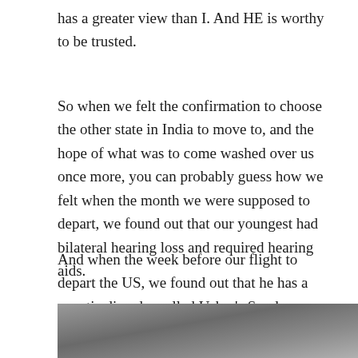has a greater view than I. And HE is worthy to be trusted.
So when we felt the confirmation to choose the other state in India to move to, and the hope of what was to come washed over us once more, you can probably guess how we felt when the month we were supposed to depart, we found out that our youngest had bilateral hearing loss and required hearing aids.
And when the week before our flight to depart the US, we found out that he has a genetic disorder called Usher's Syndrome, you can imagine the grief, confusion and utter despair that we ensued.
[Figure (photo): Partial photo visible at the bottom of the page, appears to show an indoor scene with muted gray/brown tones.]